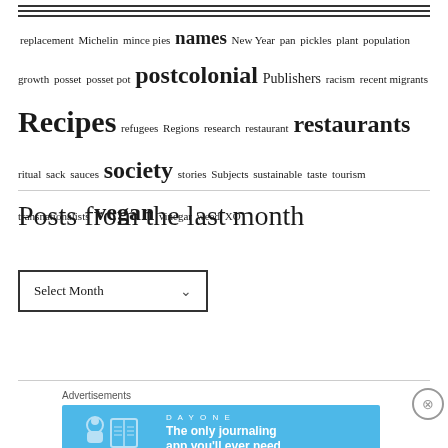replacement Michelin mince pies names New Year pan pickles plant population growth posset posset pot postcolonial Publishers racism recent migrants Recipes refugees Regions research restaurant restaurants ritual sack sauces society stories Subjects sustainable taste tourism transnationalists vegan vinegar weed XO
Posts from the last month
[Figure (screenshot): A dropdown selector widget labeled 'Select Month' with a downward chevron arrow]
Advertisements
[Figure (screenshot): DAY ONE app advertisement banner on blue background: 'The only journaling app you'll ever need.']